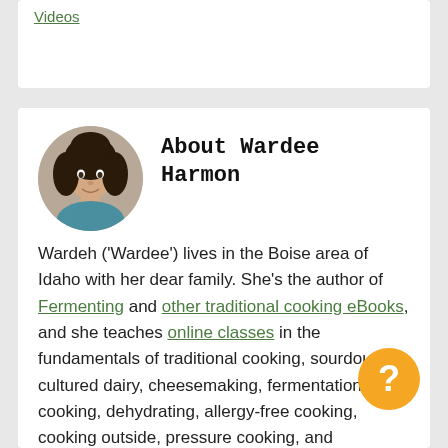Videos
About Wardee Harmon
Wardeh ('Wardee') lives in the Boise area of Idaho with her dear family. She's the author of Fermenting and other traditional cooking eBooks, and she teaches online classes in the fundamentals of traditional cooking, sourdough, cultured dairy, cheesemaking, fermentation, kids cooking, dehydrating, allergy-free cooking, cooking outside, pressure cooking, and